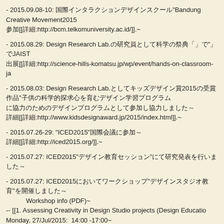- 2015.09.08-10: 国際インタラクションデザインスクール"Bandung Creative Movement2015"参加[[詳細:http://bcm.telkomuniversity.ac.id/]].~
- 2015.08.29: Design Research Lab.の研究員として科学の祭典「」でJAIST出展[[詳細:http://science-hills-komatsu.jp/wp/event/hands-on-classroom-ja
- 2015.08.03: Design Research Lab.としてキッズデザイン賞2015の受賞作品「子供の科学的探求心を育むデザイン学習プログラム」に協力～[[詳細:http://www.kidsdesignaward.jp/2015/index.html]].~
- 2015.07.26-29: "ICED2015"国際会議に参加・発表～[[詳細:http://iced2015.org/]].~
- 2015.07.27: ICED2015"デザイン教育セッション"にて研究発表を行いました～
- 2015.07.27: ICED2015においてワークショップ"デザインスタジオ教育"を開催しました～
        Workshop info (PDF)~
-- [[1. Assessing Creativity in Design Studio projects (Design Educatio
Monday, 27/Jul/2015:  14:00 -17:00~
-- [[2. Bio-inspired design (Design Creativity SIG):http://iced2015.org/
Monday, 27/Jul/2015:  9:30am -12:30pm~